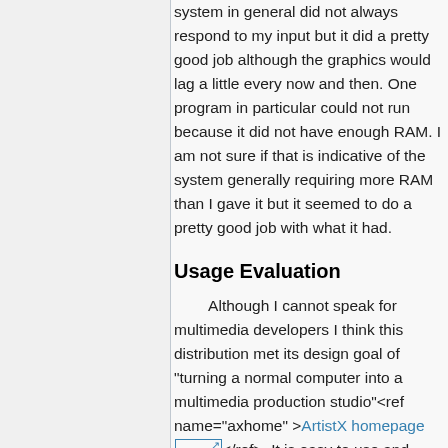system in general did not always respond to my input but it did a pretty good job although the graphics would lag a little every now and then. One program in particular could not run because it did not have enough RAM. I am not sure if that is indicative of the system generally requiring more RAM than I gave it but it seemed to do a pretty good job with what it had.
Usage Evaluation
Although I cannot speak for multimedia developers I think this distribution met its design goal of "turning a normal computer into a multimedia production studio"<ref name="axhome" >ArtistX homepage</ref>. It is easy to use and easy to navigate to the programs you